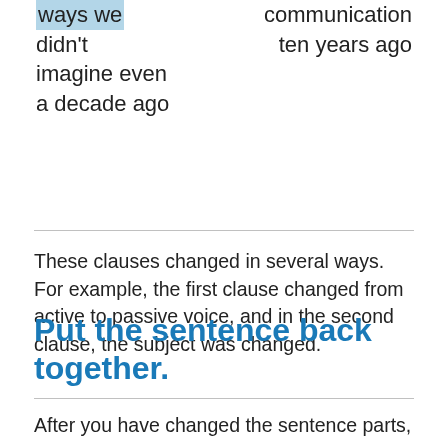ways we didn't imagine even a decade ago
communication ten years ago
These clauses changed in several ways. For example, the first clause changed from active to passive voice, and in the second clause, the subject was changed.
Put the sentence back together.
After you have changed the sentence parts, you